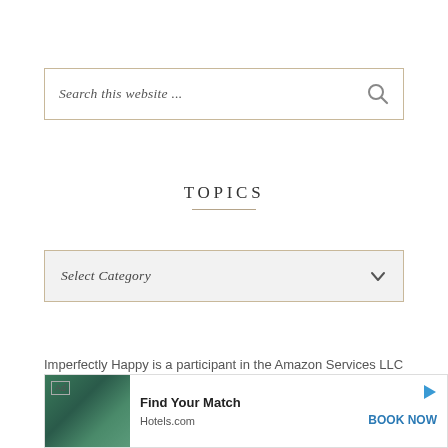[Figure (screenshot): Search bar with italic placeholder text 'Search this website ...' and a magnifying glass icon on the right]
TOPICS
[Figure (screenshot): Dropdown selector with italic text 'Select Category' and a chevron/down arrow on the right, with light gray background]
Imperfectly Happy is a participant in the Amazon Services LLC Associates Program, an affiliate advertising program des... ing fee...
[Figure (screenshot): Ad banner for Hotels.com showing 'Find Your Match' with a tropical pool resort image and 'BOOK NOW' call to action]